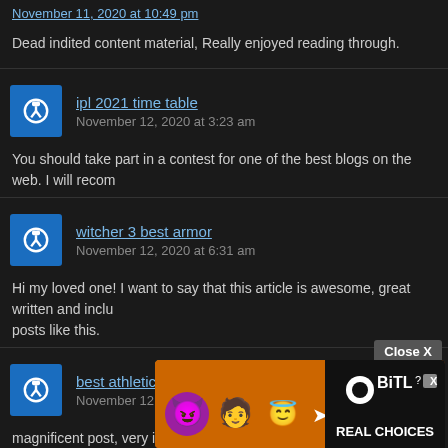November 11, 2020 at 10:49 pm
Dead indited content material, Really enjoyed reading through.
ipl 2021 time table
November 12, 2020 at 3:23 am
You should take part in a contest for one of the best blogs on the web. I will recom
witcher 3 best armor
November 12, 2020 at 6:31 am
Hi my loved one! I want to say that this article is awesome, great written and inclu posts like this.
best athletic socks
November 12, 2020 at 12:08 pm
magnificent post, very informative. I'm wondering why the opposite specialists of t your writi
[Figure (screenshot): BitLife Real Choices advertisement banner with emoji characters (devil, person with angel halo, winking face, sperm emoji) and BitLife logo with 'REAL CHOICES' text. Has a 'Close X' button overlay.]